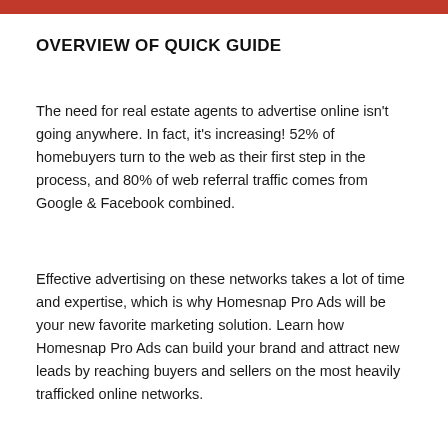OVERVIEW OF QUICK GUIDE
The need for real estate agents to advertise online isn't going anywhere. In fact, it's increasing! 52% of homebuyers turn to the web as their first step in the process, and 80% of web referral traffic comes from Google & Facebook combined.
Effective advertising on these networks takes a lot of time and expertise, which is why Homesnap Pro Ads will be your new favorite marketing solution. Learn how Homesnap Pro Ads can build your brand and attract new leads by reaching buyers and sellers on the most heavily trafficked online networks.